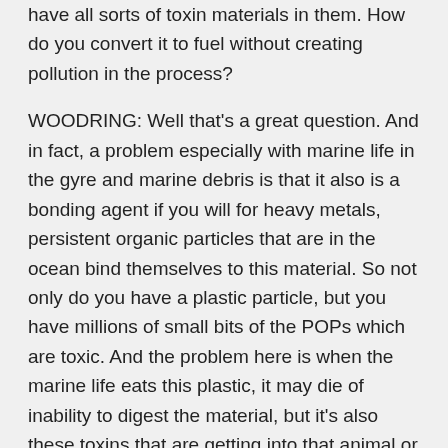have all sorts of toxin materials in them. How do you convert it to fuel without creating pollution in the process?
WOODRING: Well that's a great question. And in fact, a problem especially with marine life in the gyre and marine debris is that it also is a bonding agent if you will for heavy metals, persistent organic particles that are in the ocean bind themselves to this material. So not only do you have a plastic particle, but you have millions of small bits of the POPs which are toxic. And the problem here is when the marine life eats this plastic, it may die of inability to digest the material, but it's also these toxins that are getting into that animal or fish. And when the next animal or fish in the food chain eats that it's going up into the whole ecosystem including into potentially what we're eating.
So some of the new technologies that can basically